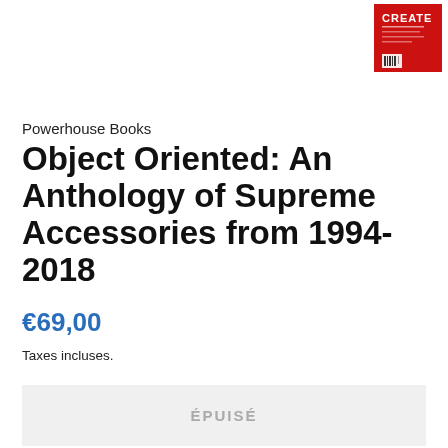[Figure (photo): Small thumbnail image of a red book cover with white text 'CREATE' visible, top right corner]
Powerhouse Books
Object Oriented: An Anthology of Supreme Accessories from 1994-2018
€69,00
Taxes incluses.
ÉPUISÉ
A complete anthology of 25 years of Supreme accessories. Object...